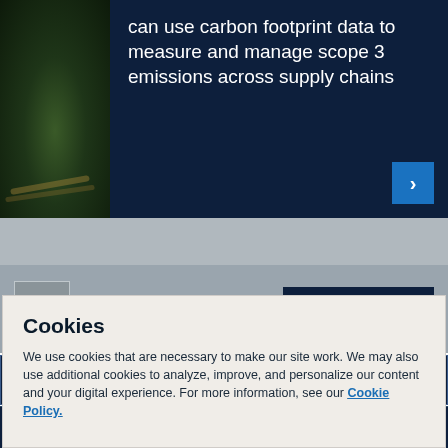[Figure (photo): Dark green nature/landscape photo on left side of banner]
can use carbon footprint data to measure and manage scope 3 emissions across supply chains
Need Help?
Speak with ICIS
Search ICIS
FOLLOW US
[Figure (logo): LinkedIn, Twitter, YouTube social media icons]
Cookies
We use cookies that are necessary to make our site work. We may also use additional cookies to analyze, improve, and personalize our content and your digital experience. For more information, see our Cookie Policy.